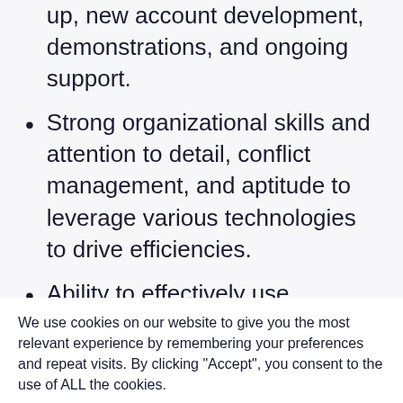up, new account development, demonstrations, and ongoing support.
Strong organizational skills and attention to detail, conflict management, and aptitude to leverage various technologies to drive efficiencies.
Ability to effectively use technology to communicate, manage data, record and retrieve customer contacts, and access essential information about our
We use cookies on our website to give you the most relevant experience by remembering your preferences and repeat visits. By clicking “Accept”, you consent to the use of ALL the cookies.